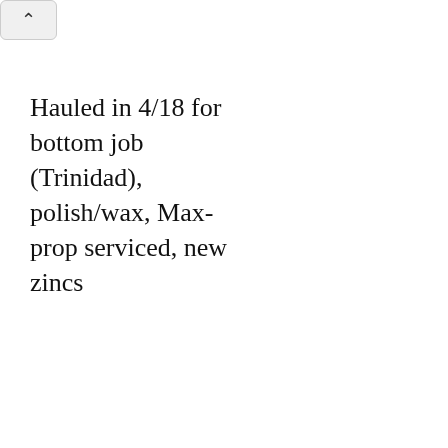Hauled in 4/18 for bottom job (Trinidad), polish/wax, Max-prop serviced, new zincs